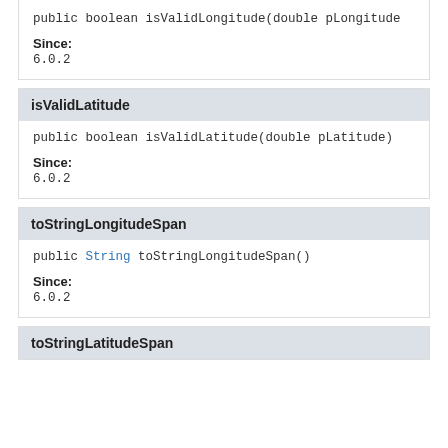public boolean isValidLongitude(double pLongitude
Since:
6.0.2
isValidLatitude
public boolean isValidLatitude(double pLatitude)
Since:
6.0.2
toStringLongitudeSpan
public String toStringLongitudeSpan()
Since:
6.0.2
toStringLatitudeSpan